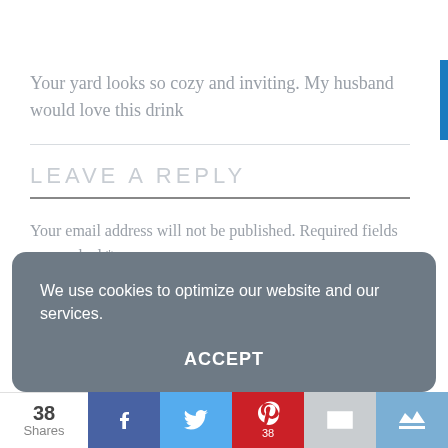Your yard looks so cozy and inviting. My husband would love this drink
LEAVE A REPLY
Your email address will not be published. Required fields are marked *
COMMENT *
We use cookies to optimize our website and our services.
ACCEPT
38 Shares